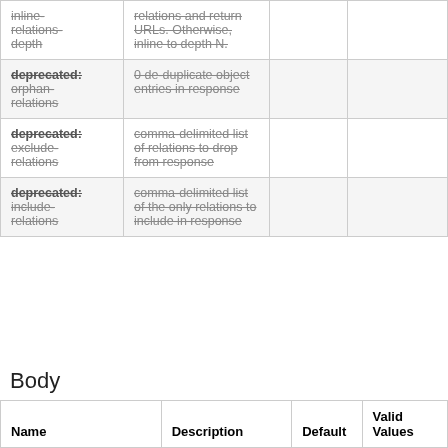| Name | Description | Default | Valid Values |
| --- | --- | --- | --- |
| inline-relations-depth | relations and return URLs. Otherwise, inline to depth N. |  |  |
| deprecated: orphan-relations | 0 de-duplicate object entries in response |  |  |
| deprecated: exclude-relations | comma-delimited list of relations to drop from response |  |  |
| deprecated: include-relations | comma-delimited list of the only relations to include in response |  |  |
Body
| Name | Description | Default | Valid Values |
| --- | --- | --- | --- |
|  | The uid of the... |  |  |